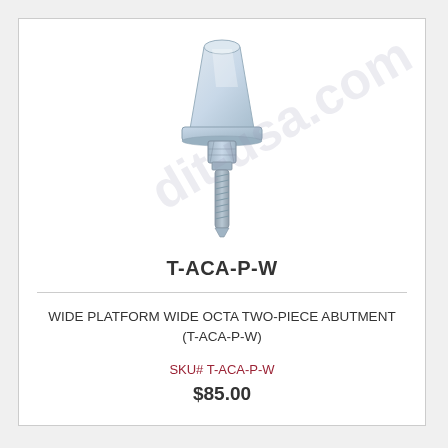[Figure (photo): Product photo of a wide platform wide octa two-piece dental abutment (T-ACA-P-W). The abutment is shown in silver/light grey with a tapered upper cap that flares to a wide circular collar, a hex nut middle section, and a threaded screw post at the bottom.]
T-ACA-P-W
WIDE PLATFORM WIDE OCTA TWO-PIECE ABUTMENT (T-ACA-P-W)
SKU# T-ACA-P-W
$85.00